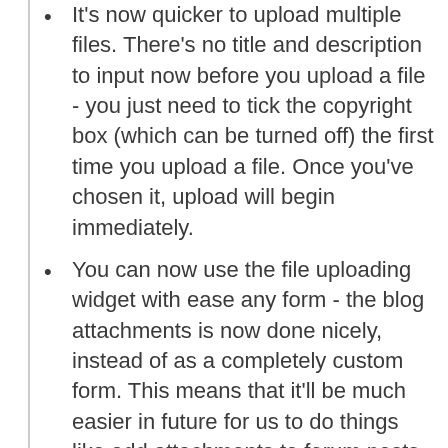It's now quicker to upload multiple files. There's no title and description to input now before you upload a file - you just need to tick the copyright box (which can be turned off) the first time you upload a file. Once you've chosen it, upload will begin immediately.
You can now use the file uploading widget with ease any form - the blog attachments is now done nicely, instead of as a completely custom form. This means that it'll be much easier in future for us to do things like add attachments to forum posts.
The file browser widget is also easier to integrate now - so in